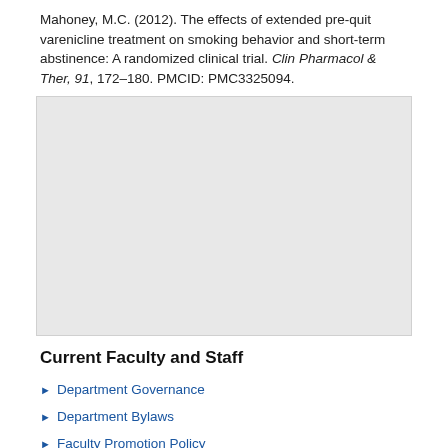Mahoney, M.C. (2012). The effects of extended pre-quit varenicline treatment on smoking behavior and short-term abstinence: A randomized clinical trial. Clin Pharmacol & Ther, 91, 172–180. PMCID: PMC3325094.
[Figure (other): Gray placeholder box, likely an embedded image or figure area]
Current Faculty and Staff
Department Governance
Department Bylaws
Faculty Promotion Policy